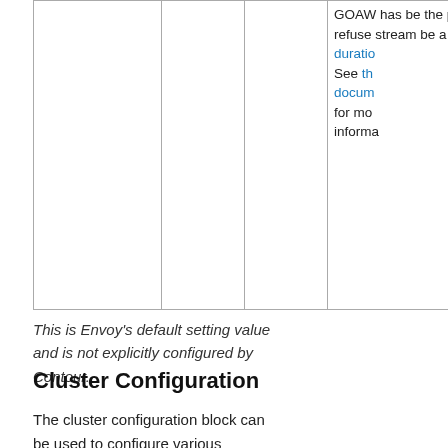|  |  |  |  |
| --- | --- | --- | --- |
|  |  |  | GOAW... has be... the pro... refuse ... stream... be a valid duration... See the docum... for mo... informa... |
This is Envoy's default setting value and is not explicitly configured by Contour.
Cluster Configuration
The cluster configuration block can be used to configure various